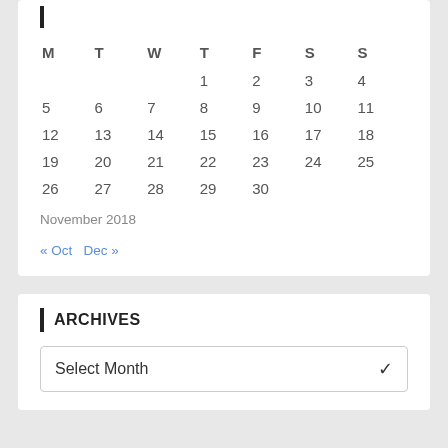| M | T | W | T | F | S | S |
| --- | --- | --- | --- | --- | --- | --- |
|  |  |  | 1 | 2 | 3 | 4 |
| 5 | 6 | 7 | 8 | 9 | 10 | 11 |
| 12 | 13 | 14 | 15 | 16 | 17 | 18 |
| 19 | 20 | 21 | 22 | 23 | 24 | 25 |
| 26 | 27 | 28 | 29 | 30 |  |  |
November 2018
« Oct   Dec »
ARCHIVES
Select Month